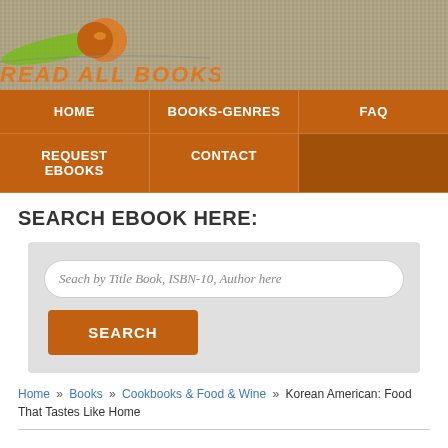[Figure (logo): Read All Books logo with orange and green swoosh and text 'READ ALL BOOKS' in orange on a tan dotted background]
HOME   BOOKS-GENRES   FAQ   REQUEST EBOOKS   CONTACT
SEARCH EBOOK HERE:
Search by Title Book, ISBN-10, Author here
SEARCH
Home » Books » Cookbooks & Food & Wine » Korean American: Food That Tastes Like Home